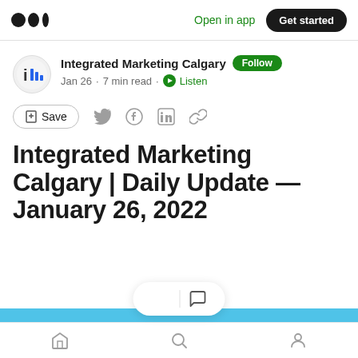Open in app | Get started
Integrated Marketing Calgary · Follow · Jan 26 · 7 min read · Listen
Save
Integrated Marketing Calgary | Daily Update — January 26, 2022